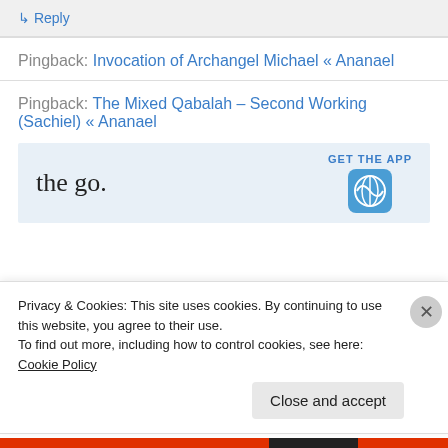↳ Reply
Pingback: Invocation of Archangel Michael « Ananael
Pingback: The Mixed Qabalah – Second Working (Sachiel) « Ananael
[Figure (screenshot): WordPress mobile app advertisement showing 'the go.' text in serif font and 'GET THE APP' link with WordPress logo icon]
Privacy & Cookies: This site uses cookies. By continuing to use this website, you agree to their use.
To find out more, including how to control cookies, see here: Cookie Policy
Close and accept